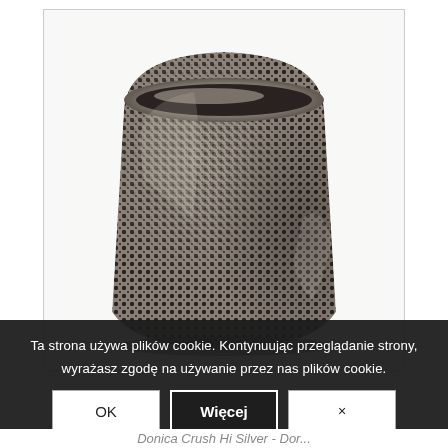[Figure (photo): A silver/metallic decorative pot with a hammered/stippled texture pattern across its surface. The pot is rounded with a wide opening at the top and tapers slightly at the base. The texture consists of countless small dark dots creating a reptile-skin or pebbled effect on the metallic surface.]
Ta strona używa plików cookie. Kontynuując przeglądanie strony, wyrażasz zgodę na używanie przez nas plików cookie.
OK
Więcej
×
Donica Crush Hi Silver - Dor...